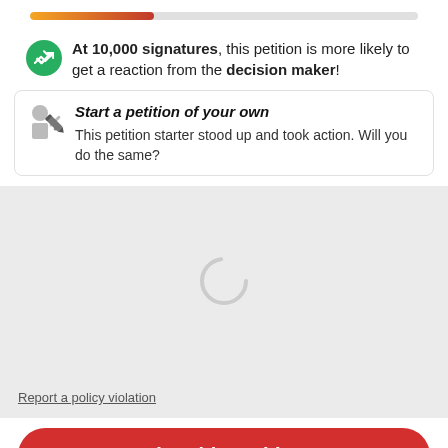[Figure (infographic): Progress bar showing partial fill from orange to red, approximately 32% filled]
At 10,000 signatures, this petition is more likely to get a reaction from the decision maker!
Start a petition of your own
This petition starter stood up and took action. Will you do the same?
[Figure (other): Loading spinner (circular arc indicator)]
Report a policy violation
Sign this petition